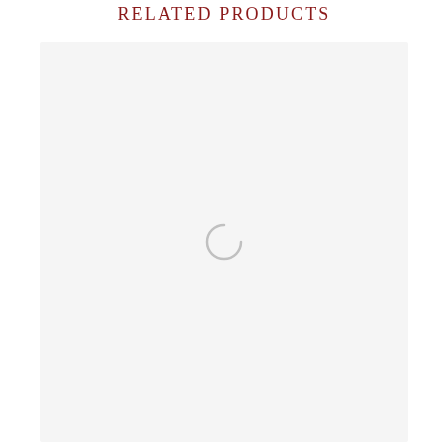RELATED PRODUCTS
[Figure (other): A loading spinner (partial circle arc) centered within a large light gray placeholder box, indicating content is being loaded.]